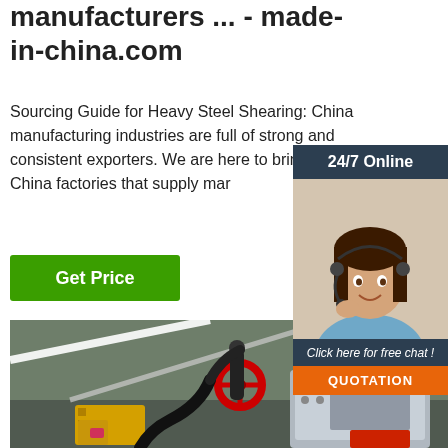manufacturers ... - made-in-china.com
Sourcing Guide for Heavy Steel Shearing: China manufacturing industries are full of strong and consistent exporters. We are here to brin together China factories that supply mar
[Figure (screenshot): Green 'Get Price' button]
[Figure (infographic): 24/7 Online chat widget with female customer service agent wearing headset, and orange QUOTATION button]
[Figure (photo): Industrial heavy steel shearing machine with red handwheel, yellow components, black hydraulic hoses, and silver metal parts]